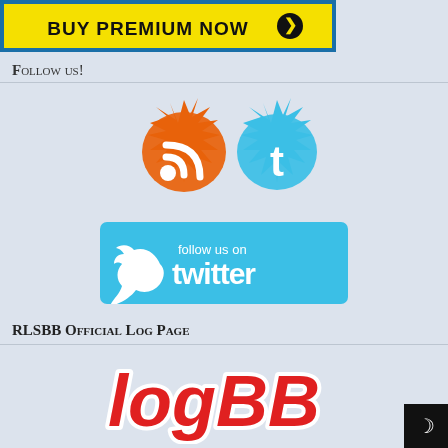[Figure (illustration): Buy Premium Now banner button with yellow background, dark text, and black arrow circle]
Follow us!
[Figure (illustration): Two social media icons: an orange RSS feed icon and a blue Twitter bird icon, both in a splatter style]
[Figure (illustration): Follow us on Twitter banner with light blue background, white Twitter bird logo, and white text saying 'follow us on twitter']
RLSBB Official Log Page
[Figure (logo): logBB logo in red bold stylized text with white outline]
[Figure (illustration): Dark mode toggle button icon (crescent moon) on black square background]